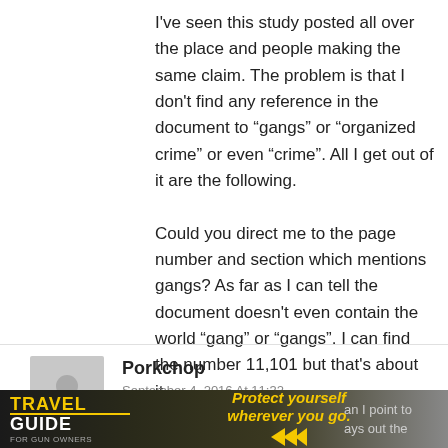I've seen this study posted all over the place and people making the same claim. The problem is that I don't find any reference in the document to “gangs” or “organized crime” or even “crime”. All I get out of it are the following.

Could you direct me to the page number and section which mentions gangs? As far as I can tell the document doesn't even contain the world “gang” or “gangs”. I can find the number 11,101 but that's about it.
Porkchop
September 4, 2016 At 11:32
I have also previously requested that
an I point to
ays out the
[Figure (infographic): Advertisement banner for Travel Guide For Gun Owners featuring 'Protect yourself wherever you go.' with US LawShield branding]